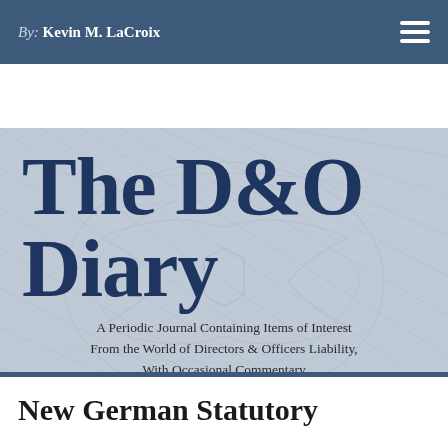By: Kevin M. LaCroix
[Figure (illustration): The D&O Diary logo banner with decorative engraving-style eagle/seal watermark background, dark navy title text reading 'The D&O Diary' and subtitle 'A Periodic Journal Containing Items of Interest From the World of Directors & Officers Liability, With Occasional Commentary']
New German Statutory